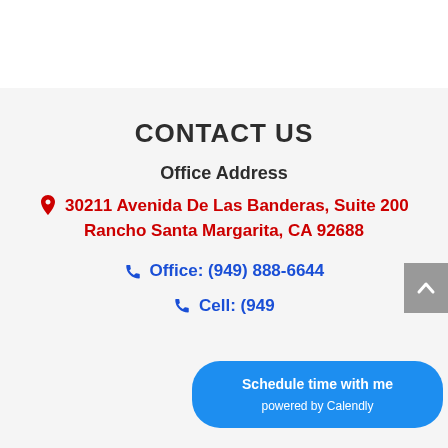CONTACT US
Office Address
30211 Avenida De Las Banderas, Suite 200 Rancho Santa Margarita, CA 92688
Office: (949) 888-6644
Cell: (949...
[Figure (other): Scroll to top button (grey arrow up)]
[Figure (other): Calendly scheduling button: 'Schedule time with me powered by Calendly']